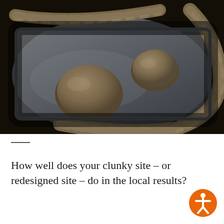[Figure (photo): Bread dough on a metal baking tray. Two twisted rope-shaped dough pieces and two rounded dough balls are arranged on a stainless steel sheet pan.]
—
How well does your clunky site – or redesigned site – do in the local results?
[Figure (illustration): Orange circular accessibility icon showing a human figure with arms outstretched, in the style of the international accessibility symbol.]